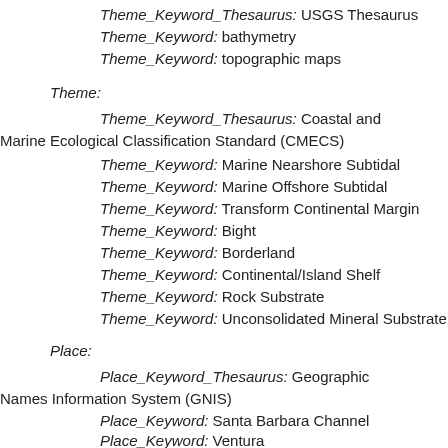Theme_Keyword_Thesaurus: USGS Thesaurus
Theme_Keyword: bathymetry
Theme_Keyword: topographic maps
Theme:
Theme_Keyword_Thesaurus: Coastal and Marine Ecological Classification Standard (CMECS)
Theme_Keyword: Marine Nearshore Subtidal
Theme_Keyword: Marine Offshore Subtidal
Theme_Keyword: Transform Continental Margin
Theme_Keyword: Bight
Theme_Keyword: Borderland
Theme_Keyword: Continental/Island Shelf
Theme_Keyword: Rock Substrate
Theme_Keyword: Unconsolidated Mineral Substrate
Place:
Place_Keyword_Thesaurus: Geographic Names Information System (GNIS)
Place_Keyword: Santa Barbara Channel
Place_Keyword: Ventura
Place_Keyword: Ventura Harbor
Place_Keyword: Pacific Ocean
Place_Keyword: California